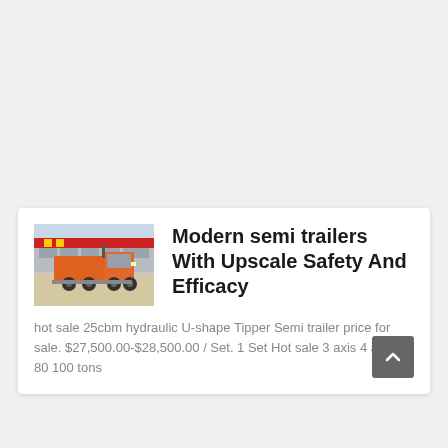[Figure (photo): Orange semi truck/tractor unit parked in front of a commercial building with red signage, photographed outdoors]
Modern semi trailers With Upscale Safety And Efficacy
hot sale 25cbm hydraulic U-shape Tipper Semi trailer price for sale. $27,500.00-$28,500.00 / Set. 1 Set Hot sale 3 axis 4 axle 60 80 100 tons